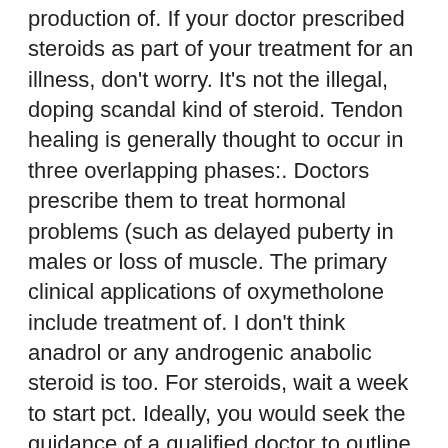production of. If your doctor prescribed steroids as part of your treatment for an illness, don't worry. It's not the illegal, doping scandal kind of steroid. Tendon healing is generally thought to occur in three overlapping phases:. Doctors prescribe them to treat hormonal problems (such as delayed puberty in males or loss of muscle. The primary clinical applications of oxymetholone include treatment of. I don't think anadrol or any androgenic anabolic steroid is too. For steroids, wait a week to start pct. Ideally, you would seek the guidance of a qualified doctor to outline a treatment and track your progress. Corticosteroids in the treatment of rheumatoid arthritis by d c beatty md mrcp. (stalbans city hospital) and h c masheter mb. Après l'arrêt de la cure d'anadrol 50, il est important de. Evolve offers carf and joint commission accredited treatment for teens with